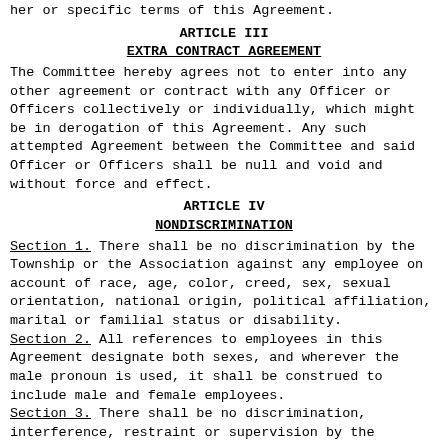her or specific terms of this Agreement.
ARTICLE III
EXTRA CONTRACT AGREEMENT
The Committee hereby agrees not to enter into any other agreement or contract with any Officer or Officers collectively or individually, which might be in derogation of this Agreement. Any such attempted Agreement between the Committee and said Officer or Officers shall be null and void and without force and effect.
ARTICLE IV
NONDISCRIMINATION
Section 1. There shall be no discrimination by the Township or the Association against any employee on account of race, age, color, creed, sex, sexual orientation, national origin, political affiliation, marital or familial status or disability.
Section 2. All references to employees in this Agreement designate both sexes, and wherever the male pronoun is used, it shall be construed to include male and female employees.
Section 3. There shall be no discrimination, interference, restraint or supervision by the